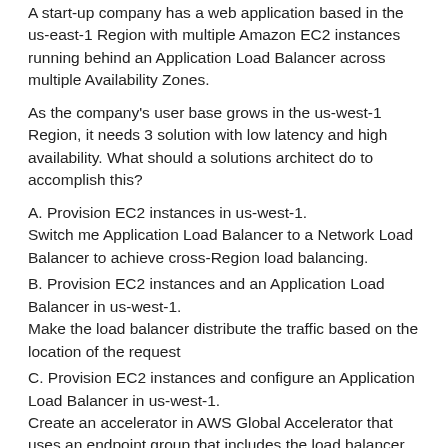A start-up company has a web application based in the us-east-1 Region with multiple Amazon EC2 instances running behind an Application Load Balancer across multiple Availability Zones.
As the company's user base grows in the us-west-1 Region, it needs 3 solution with low latency and high availability. What should a solutions architect do to accomplish this?
A. Provision EC2 instances in us-west-1. Switch me Application Load Balancer to a Network Load Balancer to achieve cross-Region load balancing.
B. Provision EC2 instances and an Application Load Balancer in us-west-1. Make the load balancer distribute the traffic based on the location of the request
C. Provision EC2 instances and configure an Application Load Balancer in us-west-1. Create an accelerator in AWS Global Accelerator that uses an endpoint group that includes the load balancer endpoints in